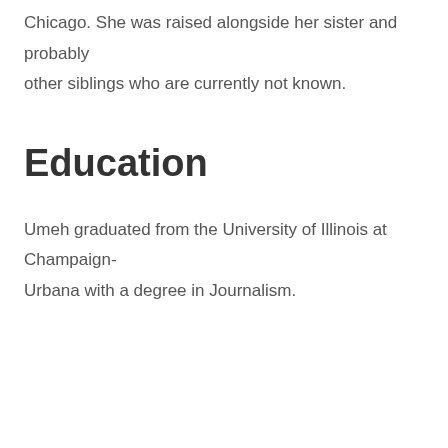Chicago. She was raised alongside her sister and probably other siblings who are currently not known.
Education
Umeh graduated from the University of Illinois at Champaign-Urbana with a degree in Journalism.